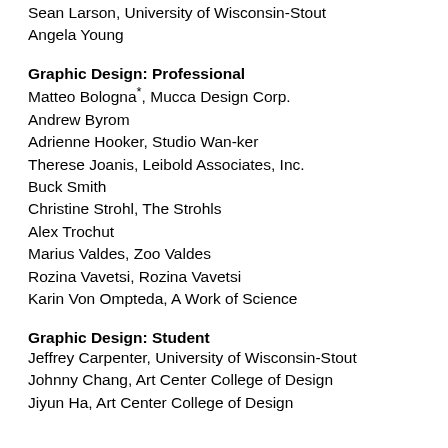Sean Larson, University of Wisconsin-Stout
Angela Young
Graphic Design: Professional
Matteo Bologna*, Mucca Design Corp.
Andrew Byrom
Adrienne Hooker, Studio Wan-ker
Therese Joanis, Leibold Associates, Inc.
Buck Smith
Christine Strohl, The Strohls
Alex Trochut
Marius Valdes, Zoo Valdes
Rozina Vavetsi, Rozina Vavetsi
Karin Von Ompteda, A Work of Science
Graphic Design: Student
Jeffrey Carpenter, University of Wisconsin-Stout
Johnny Chang, Art Center College of Design
Jiyun Ha, Art Center College of Design